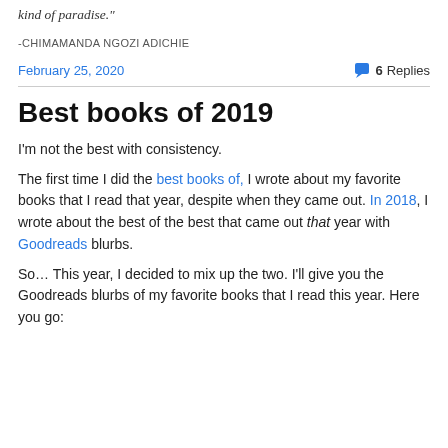kind of paradise."
-CHIMAMANDA NGOZI ADICHIE
February 25, 2020    💬 6 Replies
Best books of 2019
I'm not the best with consistency.
The first time I did the best books of, I wrote about my favorite books that I read that year, despite when they came out. In 2018, I wrote about the best of the best that came out that year with Goodreads blurbs.
So… This year, I decided to mix up the two. I'll give you the Goodreads blurbs of my favorite books that I read this year. Here you go: